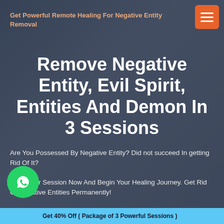Get Powerful Remote Healing For Negative Entity Removal
Remove Negative Entity, Evil Spirit, Entities And Demon In 3 Sessions
Are You Possessed By Negative Entity? Did not succeed In getting Rid Of It?
Book Your Session Now And Begin Your Healing Journey. Get Rid Of Negative Entities Permanently!
Get 40% Off ( Package of 3 Powerful Sessions )